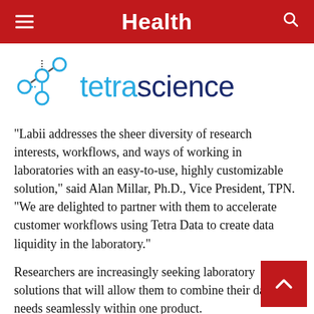Health
[Figure (logo): TetraScience logo with molecular/network icon in cyan and dark navy text reading 'tetrascience']
“Labii addresses the sheer diversity of research interests, workflows, and ways of working in laboratories with an easy-to-use, highly customizable solution,” said Alan Millar, Ph.D., Vice President, TPN. “We are delighted to partner with them to accelerate customer workflows using Tetra Data to create data liquidity in the laboratory.”
Researchers are increasingly seeking laboratory solutions that will allow them to combine their data needs seamlessly within one product.